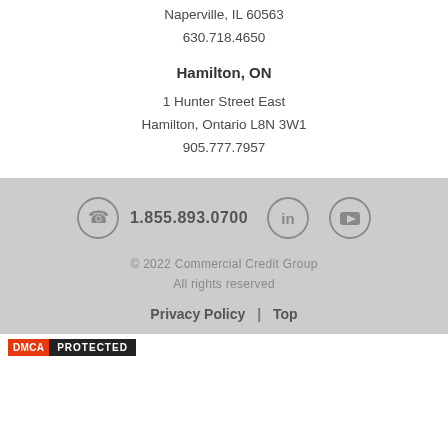Naperville, IL 60563
630.718.4650
Hamilton, ON
1 Hunter Street East
Hamilton, Ontario L8N 3W1
905.777.7957
1.855.893.0700 | © 2022 Commercial Credit Group All rights reserved | Privacy Policy | Top
DMCA PROTECTED